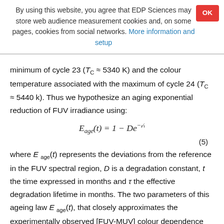By using this website, you agree that EDP Sciences may store web audience measurement cookies and, on some pages, cookies from social networks. More information and setup
minimum of cycle 23 (TC ≈ 5340 K) and the colour temperature associated with the maximum of cycle 24 (TC ≈ 5440 k). Thus we hypothesize an aging exponential reduction of FUV irradiance using:
(5)
where E age(t) represents the deviations from the reference in the FUV spectral region, D is a degradation constant, t the time expressed in months and τ the effective degradation lifetime in months. The two parameters of this ageing law E age(t), that closely approximates the experimentally observed [FUV-MUV] colour dependence on time and Mg II index, are a